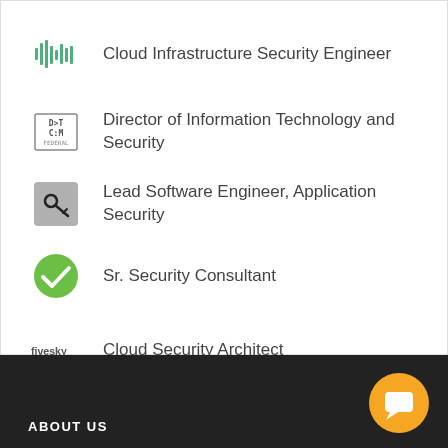Cloud Infrastructure Security Engineer
Director of Information Technology and Security
Lead Software Engineer, Application Security
Sr. Security Consultant
Cloud Security Architect
ABOUT US